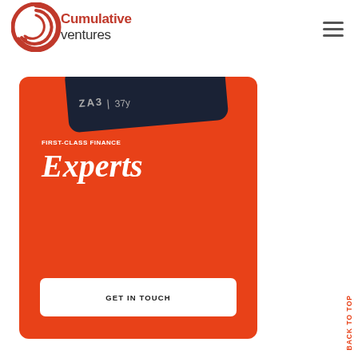[Figure (logo): Cumulative Ventures logo with red spiral C icon and company name in red/black text]
[Figure (infographic): Orange rounded card with dark device/card at top, text 'FIRST-CLASS FINANCE' and large 'Experts' heading, white GET IN TOUCH button]
BACK TO TOP